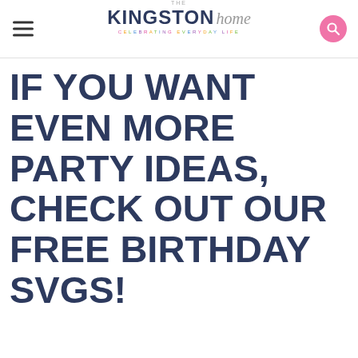THE KINGSTON home — CELEBRATING EVERYDAY LIFE
IF YOU WANT EVEN MORE PARTY IDEAS, CHECK OUT OUR FREE BIRTHDAY SVGS!